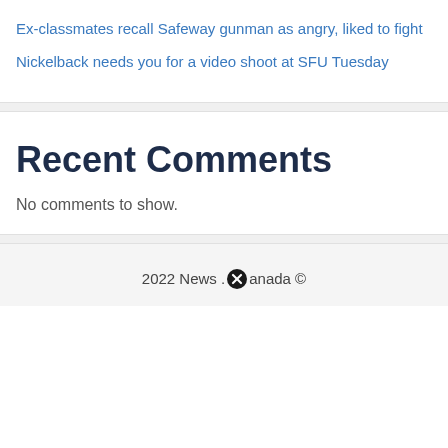Ex-classmates recall Safeway gunman as angry, liked to fight
Nickelback needs you for a video shoot at SFU Tuesday
Recent Comments
No comments to show.
2022 News .Canada ©